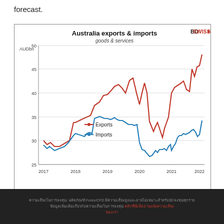forecast.
[Figure (line-chart): Australia exports & imports – goods & services]
ขอมูลความเสี่ยง: ผลิตภัณฑ์ Forex/CFD มีความเสี่ยงสูงและอาจไมเหมาะสำหรับนักลงทุนทุกราย ขอมูลเพิ่มเติม